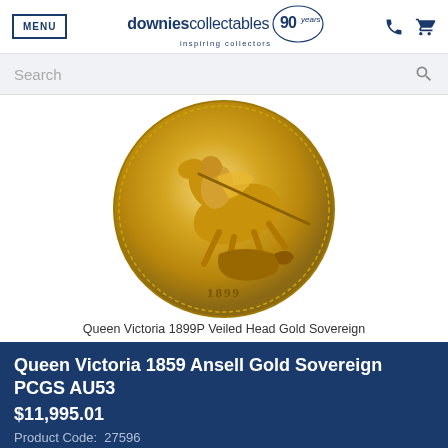MENU | downiescollectables 90 years inspiring collectors
Search
[Figure (photo): Gold coin showing St George slaying the dragon on horseback, dated 1899, Queen Victoria 1899P Veiled Head Gold Sovereign]
Queen Victoria 1899P Veiled Head Gold Sovereign
Queen Victoria 1859 Ansell Gold Sovereign PCGS AU53
$11,995.01
Product Code:  27596